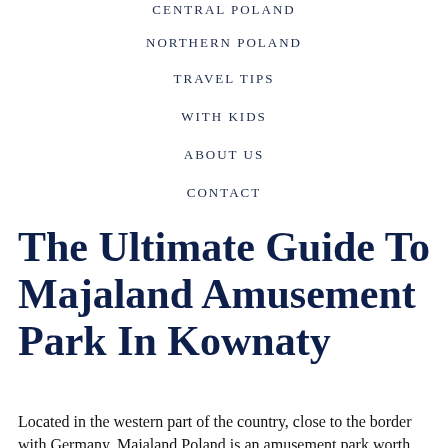CENTRAL POLAND
NORTHERN POLAND
TRAVEL TIPS
WITH KIDS
ABOUT US
CONTACT
The Ultimate Guide To Majaland Amusement Park In Kownaty
Located in the western part of the country, close to the border with Germany, Majaland Poland is an amusement park worth visiting.